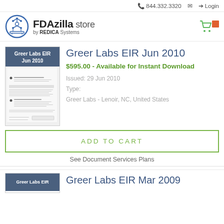844.332.3320  Login
[Figure (logo): FDAzilla store by REDICA Systems logo with circular icon]
Greer Labs EIR Jun 2010
$595.00 - Available for Instant Download
Issued: 29 Jun 2010
Type:
Greer Labs - Lenoir, NC, United States
ADD TO CART
See Document Services Plans
Greer Labs EIR Mar 2009